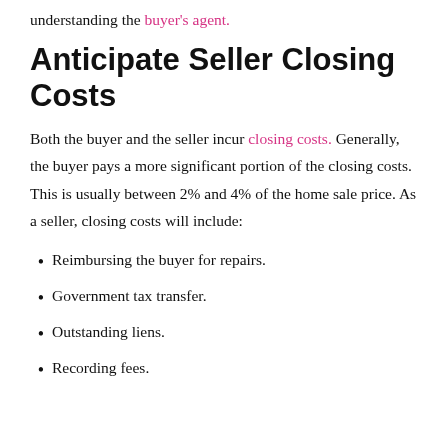understanding the buyer's agent.
Anticipate Seller Closing Costs
Both the buyer and the seller incur closing costs. Generally, the buyer pays a more significant portion of the closing costs. This is usually between 2% and 4% of the home sale price. As a seller, closing costs will include:
Reimbursing the buyer for repairs.
Government tax transfer.
Outstanding liens.
Recording fees.